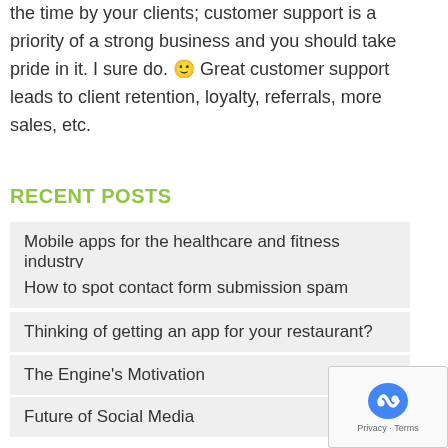the time by your clients; customer support is a priority of a strong business and you should take pride in it. I sure do. 🙂 Great customer support leads to client retention, loyalty, referrals, more sales, etc.
RECENT POSTS
Mobile apps for the healthcare and fitness industry
How to spot contact form submission spam
Thinking of getting an app for your restaurant?
The Engine's Motivation
Future of Social Media
CATEGORIES
App